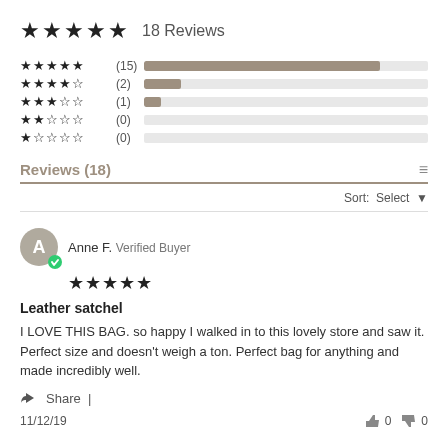★★★★★ 18 Reviews
[Figure (infographic): Rating distribution bars: 5-star (15), 4-star (2), 3-star (1), 2-star (0), 1-star (0) with horizontal bar chart]
Reviews (18)
Sort: Select
Anne F. Verified Buyer ★★★★★
Leather satchel
I LOVE THIS BAG. so happy I walked in to this lovely store and saw it. Perfect size and doesn't weigh a ton. Perfect bag for anything and made incredibly well.
Share |
11/12/19   👍 0   👎 0